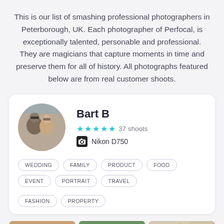This is our list of smashing professional photographers in Peterborough, UK. Each photographer of Perfocal, is exceptionally talented, personable and professional. They are magicians that capture moments in time and preserve them for all of history. All photographs featured below are from real customer shoots.
Bart B — ★★★★★ 37 shoots — Nikon D750
WEDDING
FAMILY
PRODUCT
FOOD
EVENT
PORTRAIT
TRAVEL
FASHION
PROPERTY
[Figure (photo): Three photos of customer shoots at the bottom of the page]